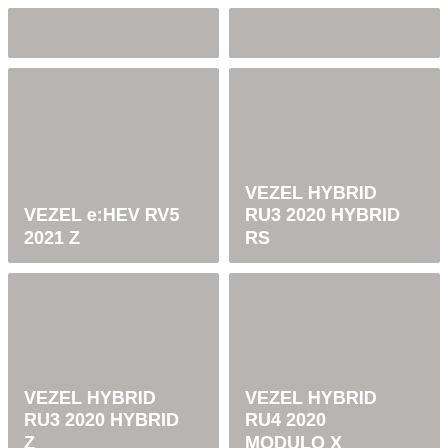[Figure (other): Partial grey image panel top-left (cropped)]
[Figure (other): Partial grey image panel top-right (cropped)]
[Figure (other): Grey placeholder card with label: VEZEL e:HEV RV5 2021 Z]
[Figure (other): Grey placeholder card with label: VEZEL HYBRID RU3 2020 HYBRID RS]
[Figure (other): Grey placeholder card with label: VEZEL HYBRID RU3 2020 HYBRID Z]
[Figure (other): Grey placeholder card with label: VEZEL HYBRID RU4 2020 MODULO X]